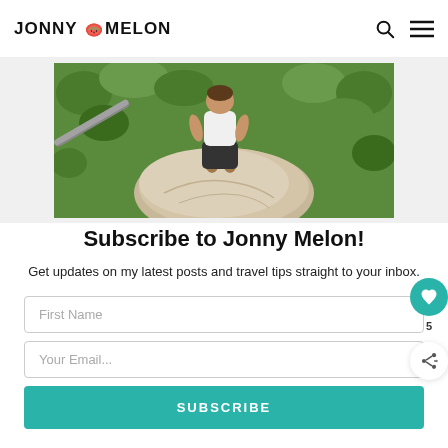JONNY MELON
[Figure (photo): Person standing barefoot on a large rock outcrop, viewed from above/drone angle, surrounded by green bushland, holding a metal railing on the left.]
Subscribe to Jonny Melon!
Get updates on my latest posts and travel tips straight to your inbox.
First Name
Your Email...
SUBSCRIBE